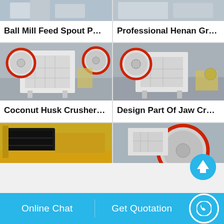[Figure (photo): Ball Mill Feed Spout product photo - partial view at top of page]
Ball Mill Feed Spout P…
[Figure (photo): Professional Henan Gr... product photo - partial view at top of page]
Professional Henan Gr…
[Figure (photo): Coconut Husk Crusher - jaw crusher machine in industrial setting]
Coconut Husk Crusher…
[Figure (photo): Design Part Of Jaw Crusher - jaw crusher machine in industrial setting]
Design Part Of Jaw Cr…
[Figure (photo): Impact crusher machine - yellow/gold colored industrial equipment]
[Figure (photo): Jaw crusher with large red/black flywheel visible]
Online Chat
Get Quotation